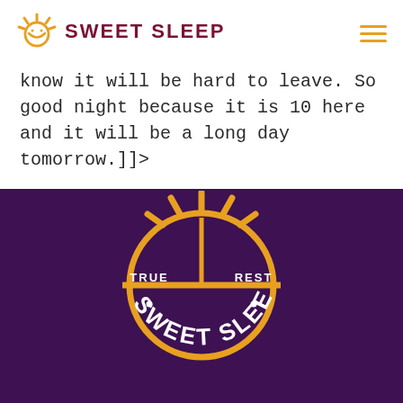SWEET SLEEP
know it will be hard to leave. So good night because it is 10 here and it will be a long day tomorrow.]]>
[Figure (logo): Sweet Sleep logo on dark purple background — orange sun/smile icon with 'TRUE' on left, 'REST' on right, and 'SWEET SLEEP' text arced along the bottom, with decorative dots]